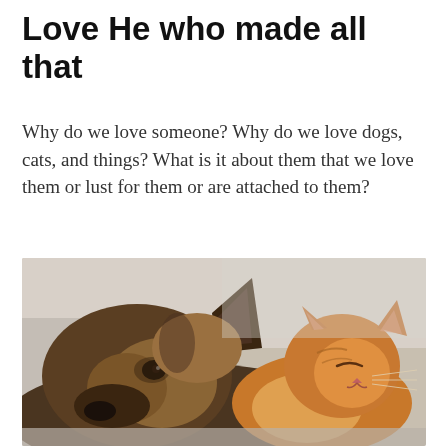Love He who made all that
Why do we love someone? Why do we love dogs, cats, and things? What is it about them that we love them or lust for them or are attached to them?
[Figure (photo): A German Shepherd dog lying down with a ginger tabby cat resting its head and face against the dog's head, showing affection and companionship. Soft, warm lighting with a light background.]